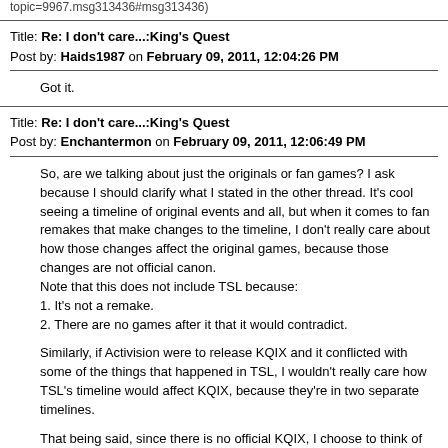topic=9967.msg313436#msg313436)
Title: Re: I don't care...:King's Quest
Post by: Haids1987 on February 09, 2011, 12:04:26 PM
Got it.
Title: Re: I don't care...:King's Quest
Post by: Enchantermon on February 09, 2011, 12:06:49 PM
So, are we talking about just the originals or fan games? I ask because I should clarify what I stated in the other thread. It's cool seeing a timeline of original events and all, but when it comes to fan remakes that make changes to the timeline, I don't really care about how those changes affect the original games, because those changes are not official canon.
Note that this does not include TSL because:
1. It's not a remake.
2. There are no games after it that it would contradict.
Similarly, if Activision were to release KQIX and it conflicted with some of the things that happened in TSL, I wouldn't really care how TSL's timeline would affect KQIX, because they're in two separate timelines.
That being said, since there is no official KQIX, I choose to think of TSL as it anyway. ^_^